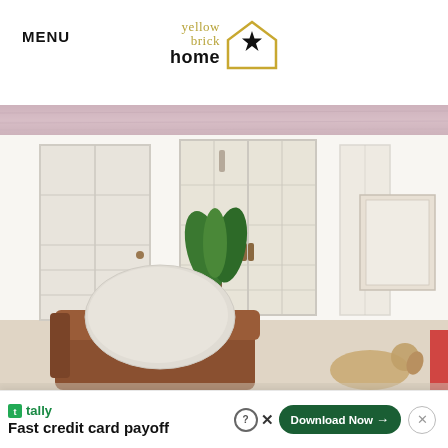MENU | yellow brick home
[Figure (photo): Banner strip with pink/dusty rose marble or floral texture pattern]
[Figure (photo): Interior living room photo showing white French doors/windows, a brown leather chair, white throw pillow, green houseplant, and a small dog visible in the foreground. Bright, airy white room.]
tally   Fast credit card payoff   Download Now →